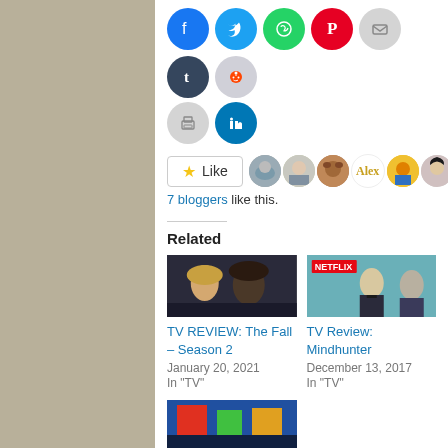[Figure (infographic): Row of social media share icon circles: Facebook (blue), Twitter (light blue), WhatsApp (green), Pinterest (red), Email (gray), Tumblr (dark blue), Reddit (light gray), Print (gray), LinkedIn (teal blue)]
[Figure (infographic): Like button with star icon and 6 blogger avatar images]
7 bloggers like this.
Related
[Figure (photo): TV show still: woman and man (The Fall Season 2)]
TV REVIEW: The Fall – Season 2
January 20, 2021
In "TV"
[Figure (photo): TV show still: man in suit (Mindhunter, Netflix)]
TV Review: Mindhunter
December 13, 2017
In "TV"
[Figure (photo): Partially visible TV show still at bottom of page (colorful)]